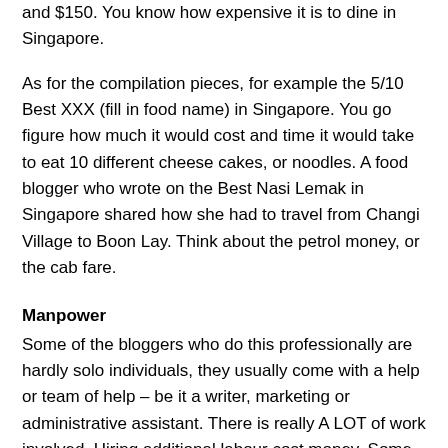and $150. You know how expensive it is to dine in Singapore.
As for the compilation pieces, for example the 5/10 Best XXX (fill in food name) in Singapore. You go figure how much it would cost and time it would take to eat 10 different cheese cakes, or noodles. A food blogger who wrote on the Best Nasi Lemak in Singapore shared how she had to travel from Changi Village to Boon Lay. Think about the petrol money, or the cab fare.
Manpower
Some of the bloggers who do this professionally are hardly solo individuals, they usually come with a help or team of help – be it a writer, marketing or administrative assistant. There is really A LOT of work involved. Hiring additional labour cost money. Some get around it by getting their spouses, boyfriend, girlfriend or bff. That has to be